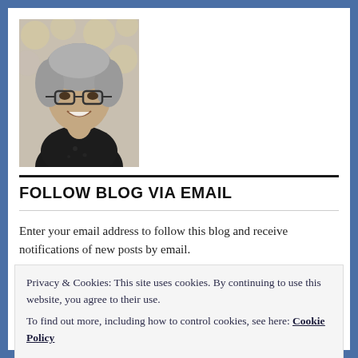[Figure (photo): Portrait photo of a woman with curly gray hair and glasses, smiling, wearing a dark top, patterned background]
FOLLOW BLOG VIA EMAIL
Enter your email address to follow this blog and receive notifications of new posts by email.
Privacy & Cookies: This site uses cookies. By continuing to use this website, you agree to their use.
To find out more, including how to control cookies, see here: Cookie Policy
Join 7,953 other followers